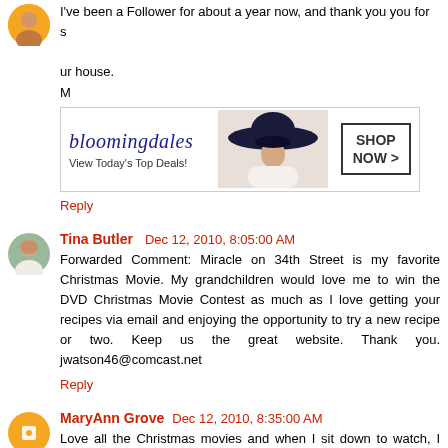I've been a Follower for about a year now, and thank you you for s... ur house. M...
[Figure (other): Bloomingdale's advertisement banner: logo, model with hat, 'View Today's Top Deals!', 'SHOP NOW >' button]
Reply
Tina Butler   Dec 12, 2010, 8:05:00 AM
Forwarded Comment: Miracle on 34th Street is my favorite Christmas Movie. My grandchildren would love me to win the DVD Christmas Movie Contest as much as I love getting your recipes via email and enjoying the opportunity to try a new recipe or two. Keep us the great website. Thank you. jwatson46@comcast.net
Reply
MaryAnn Grove   Dec 12, 2010, 8:35:00 AM
Love all the Christmas movies and when I sit down to watch, I always have a box of tissues handy. Miracle on 34th Street and Meet Me in St Louis are my 2 all time favorites. Both showed Margaret O'Brien at her young best. These DVD movies are the...